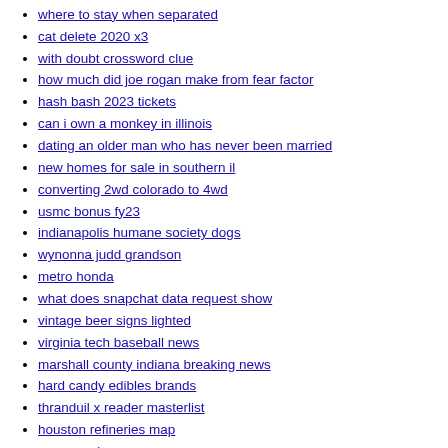doxa watch finder
where to stay when separated
cat delete 2020 x3
with doubt crossword clue
how much did joe rogan make from fear factor
hash bash 2023 tickets
can i own a monkey in illinois
dating an older man who has never been married
new homes for sale in southern il
converting 2wd colorado to 4wd
usmc bonus fy23
indianapolis humane society dogs
wynonna judd grandson
metro honda
what does snapchat data request show
vintage beer signs lighted
virginia tech baseball news
marshall county indiana breaking news
hard candy edibles brands
thranduil x reader masterlist
houston refineries map
venus and sun
why is singer fiji in a wheelchair
nice ass bitch
ignition poker rake